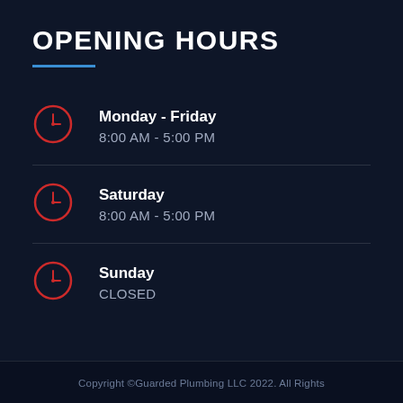OPENING HOURS
Monday - Friday
8:00 AM - 5:00 PM
Saturday
8:00 AM - 5:00 PM
Sunday
CLOSED
Copyright ©Guarded Plumbing LLC 2022. All Rights